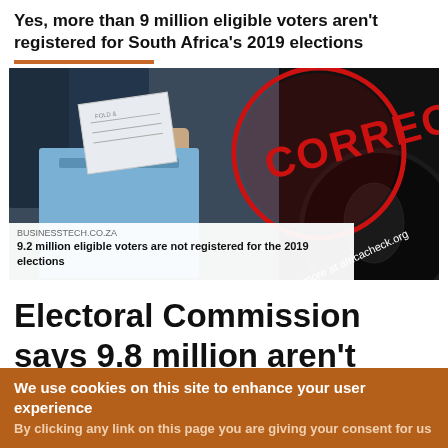Yes, more than 9 million eligible voters aren't registered for South Africa's 2019 elections
[Figure (photo): Photo of hands inserting a ballot into a ballot box, overlaid with a red 'CORRECT' stamp circle and 'Read more at africacheck.org' text. Below the photo is a caption from businesstech.co.za: '9.2 million eligible voters are not registered for the 2019 elections']
BUSINESSTECH.CO.ZA
9.2 million eligible voters are not registered for the 2019 elections
Electoral Commission says 9.8 million aren't registered
The article was posted to Facebook, where a user flagged
We use cookies on this site to enhance your user experience
By clicking any link on this page you are giving your consent for us